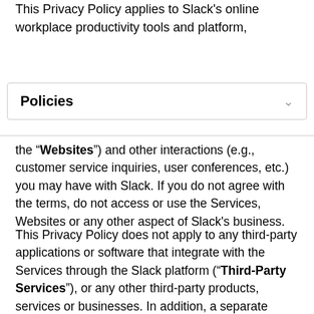This Privacy Policy applies to Slack’s online workplace productivity tools and platform,
Policies
the “Websites”) and other interactions (e.g., customer service inquiries, user conferences, etc.) you may have with Slack. If you do not agree with the terms, do not access or use the Services, Websites or any other aspect of Slack’s business.
This Privacy Policy does not apply to any third-party applications or software that integrate with the Services through the Slack platform (“Third-Party Services”), or any other third-party products, services or businesses. In addition, a separate agreement governs delivery, access and